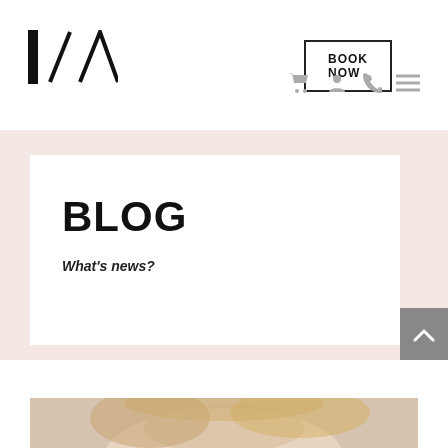[Figure (logo): Abstract logo made of a vertical black bar, a diagonal slash, and a triangle shape forming initials I/A]
[Figure (other): BOOK NOW button with black border rectangle]
[Figure (other): Navigation icons: shopping cart, user profile, phone, hamburger menu — all in light gray]
BLOG
What's news?
[Figure (other): Gray scroll-to-top button with upward chevron arrow]
[Figure (photo): Partial photo of a blonde woman visible at the bottom of the page]